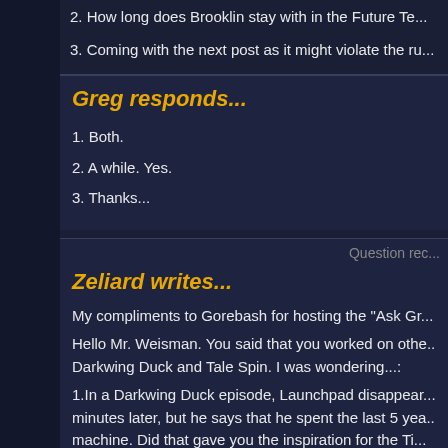2. How long does Brooklin stay with in the Future Te...
3. Coming with the next post as it might violate the ru...
Greg responds...
1. Both.
2. A while. Yes.
3. Thanks...
Question re...
Zeliard writes...
My compliments to Gorebash for hosting the "Ask Gr...
Hello Mr. Weisman. You said that you worked on othe... Darkwing Duck and Tale Spin. I was wondering...:
1.In a Darkwing Duck episode, Launchpad disappear... minutes later, but he says that he spent the last 5 yea... machine. Did that gave you the inspiration for the Ti...